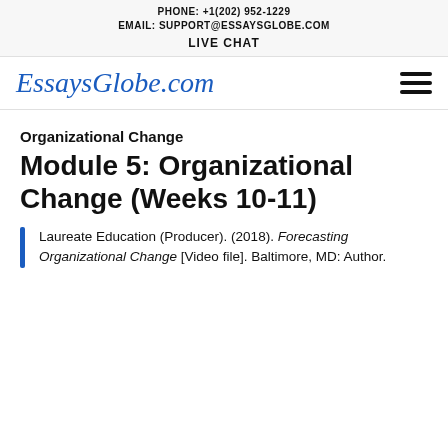PHONE: +1(202) 952-1229
EMAIL: SUPPORT@ESSAYSGLOBE.COM
LIVE CHAT
[Figure (logo): EssaysGlobe.com logo in italic blue serif font, with a hamburger menu icon on the right]
Organizational Change
Module 5: Organizational Change (Weeks 10-11)
Laureate Education (Producer). (2018). Forecasting Organizational Change [Video file]. Baltimore, MD: Author.